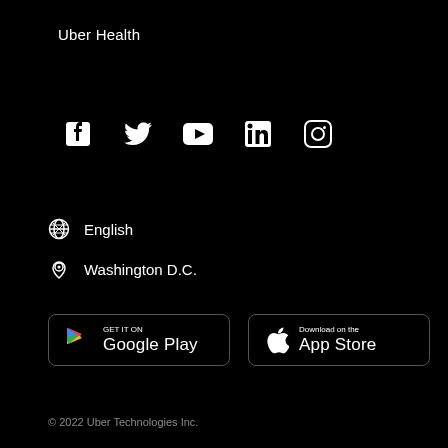Uber Health
[Figure (infographic): Social media icons row: Facebook, Twitter, YouTube, LinkedIn, Instagram — white icons on black background]
English
Washington D.C.
[Figure (infographic): Google Play and App Store download buttons with logos]
© 2022 Uber Technologies Inc.